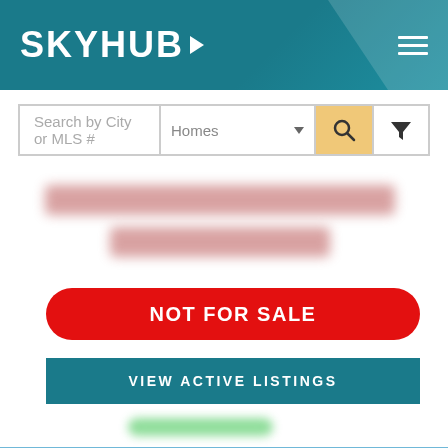SKYHUB
[Figure (screenshot): Search bar with 'Search by City or MLS #' input, 'Homes' dropdown, search icon button, and filter icon button]
[Figure (photo): Blurred address text (redacted) in two lines]
NOT FOR SALE
VIEW ACTIVE LISTINGS
[Figure (photo): Bottom aerial/exterior property photo, mostly blue sky]